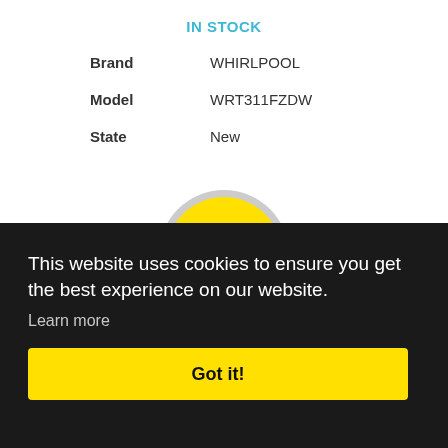IN STOCK
| Brand | WHIRLPOOL |
| Model | WRT311FZDW |
| State | New |
[Figure (infographic): Yellow circular price badge with grey outer ring showing $29.99 PER WEEK]
This website uses cookies to ensure you get the best experience on our website. Learn more
Got it!